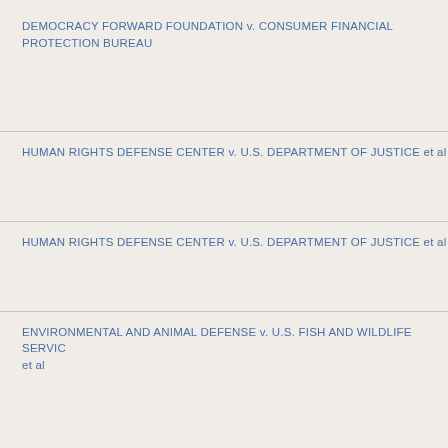DEMOCRACY FORWARD FOUNDATION v. CONSUMER FINANCIAL PROTECTION BUREAU
HUMAN RIGHTS DEFENSE CENTER v. U.S. DEPARTMENT OF JUSTICE et al
HUMAN RIGHTS DEFENSE CENTER v. U.S. DEPARTMENT OF JUSTICE et al
ENVIRONMENTAL AND ANIMAL DEFENSE v. U.S. FISH AND WILDLIFE SERVICE et al